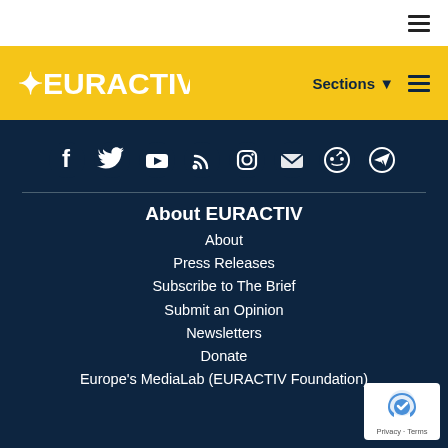[Figure (logo): EURACTIV logo in white on yellow background with star icon]
[Figure (infographic): Row of social media icons: Facebook, Twitter, YouTube, RSS, Instagram, Email, Reddit, Telegram — white icons on dark navy background]
About EURACTIV
About
Press Releases
Subscribe to The Brief
Submit an Opinion
Newsletters
Donate
Europe's MediaLab (EURACTIV Foundation)